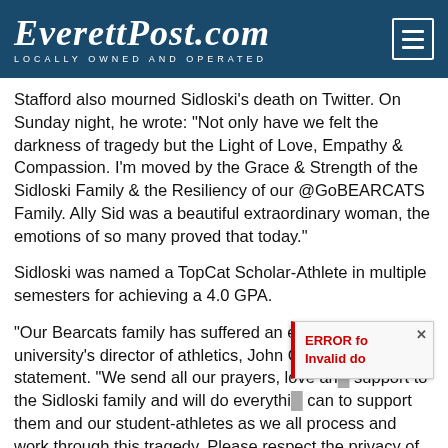EverettPost.com — Locally Owned and Operated
Stafford also mourned Sidloski's death on Twitter. On Sunday night, he wrote: “Not only have we felt the darkness of tragedy but the Light of Love, Empathy & Compassion. I’m moved by the Grace & Strength of the Sidloski Family & the Resiliency of our @GoBEARCATS Family. Ally Sid was a beautiful extraordinary woman, the emotions of so many proved that today.”
Sidloski was named a TopCat Scholar-Athlete in multiple semesters for achieving a 4.0 GPA.
“Our Bearcats family has suffered an extreme loss,” the university’s director of athletics, John Cunningha… in a statement. “We send all our prayers, love an… support to the Sidloski family and will do everythi… can to support them and our student-athletes as we all process and work through this tragedy. Please respect the privacy of the Sidloski’s and members of